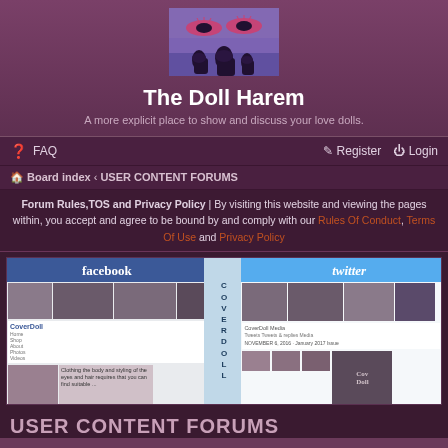[Figure (logo): The Doll Harem site logo — stylized eyes with silhouetted figures against a purple/dusk sky]
The Doll Harem
A more explicit place to show and discuss your love dolls.
FAQ   Register   Login
Board index ‹ USER CONTENT FORUMS
Forum Rules,TOS and Privacy Policy | By visiting this website and viewing the pages within, you accept and agree to be bound by and comply with our Rules Of Conduct, Terms Of Use and Privacy Policy
[Figure (screenshot): Banner image showing Facebook and Twitter profile pages for CoverDoll, with the word COVERDOLL written vertically in the center strip]
USER CONTENT FORUMS